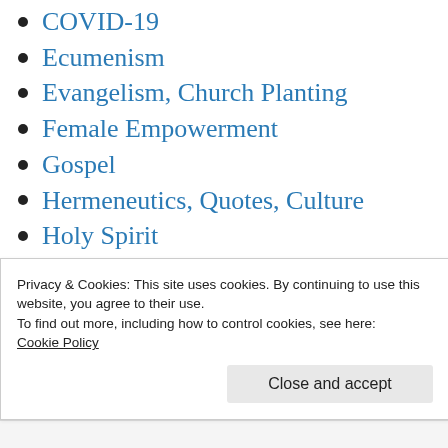COVID-19
Ecumenism
Evangelism, Church Planting
Female Empowerment
Gospel
Hermeneutics, Quotes, Culture
Holy Spirit
Leadership
Missions
Online Ministry
Pastoral Ministry
Privacy & Cookies: This site uses cookies. By continuing to use this website, you agree to their use.
To find out more, including how to control cookies, see here: Cookie Policy
Close and accept